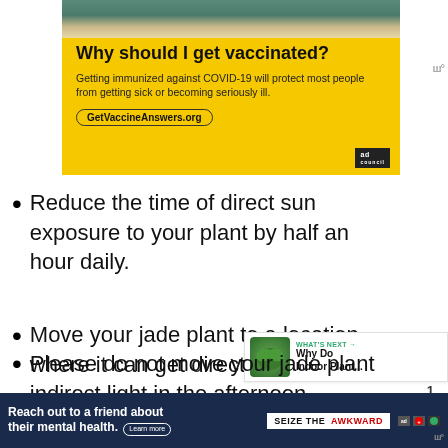[Figure (screenshot): Yellow COVID-19 vaccine advertisement banner with bold headline 'Why should I get vaccinated?', body text 'Getting immunized against COVID-19 will protect most people from getting sick or becoming seriously ill.', URL 'GetVaccineAnswers.org', and Ad Council logo in bottom right.]
Reduce the time of direct sun exposure to your plant by half an hour daily.
Move your jade plant to a location where it can get direct morning and indirect light in the afternoon.
Please do not move your jade plant
[Figure (infographic): WHAT'S NEXT widget showing a jade plant image with text 'Why Do Indoor Plant...']
[Figure (screenshot): Dark blue bottom ad bar: 'Reach out to a friend about their mental health. Learn more' with 'SEIZE THE AWKWARD' badge and Ad Council logos]